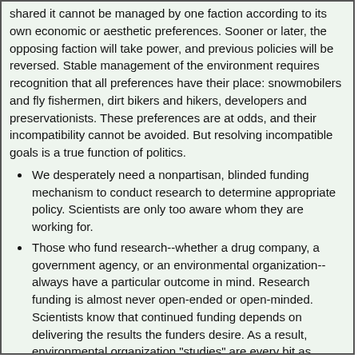shared it cannot be managed by one faction according to its own economic or aesthetic preferences. Sooner or later, the opposing faction will take power, and previous policies will be reversed. Stable management of the environment requires recognition that all preferences have their place: snowmobilers and fly fishermen, dirt bikers and hikers, developers and preservationists. These preferences are at odds, and their incompatibility cannot be avoided. But resolving incompatible goals is a true function of politics.
We desperately need a nonpartisan, blinded funding mechanism to conduct research to determine appropriate policy. Scientists are only too aware whom they are working for.
Those who fund research--whether a drug company, a government agency, or an environmental organization--always have a particular outcome in mind. Research funding is almost never open-ended or open-minded. Scientists know that continued funding depends on delivering the results the funders desire. As a result, environmental organization "studies" are every bit as biased and suspect as industry "studies." Government "studies" are similarly biased according to who is running the department or administration at the time. No faction should be given a free pass.
I am certain there is too much certainty in the world.
I personally experience a profound pleasure being in nature.